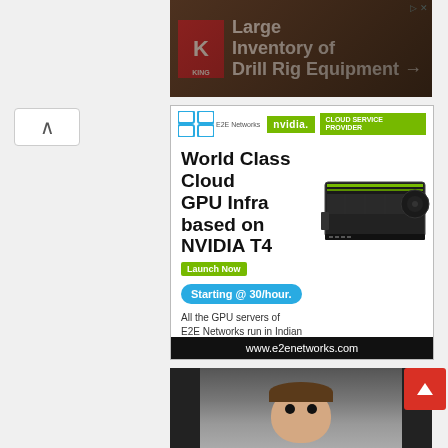[Figure (screenshot): King Oil Tools advertisement: Large Inventory of Drill Rig Equipment with arrow, dark brown background]
[Figure (screenshot): E2E Networks NVIDIA Cloud Service Provider advertisement: World Class Cloud GPU Infra based on NVIDIA T4, Launch Now, Starting @ 30/hour, www.e2enetworks.com]
[Figure (photo): Photo of a young child with wide eyes looking upward, seated in what appears to be a dark car seat]